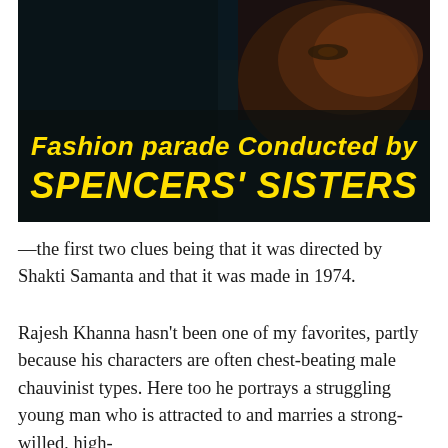[Figure (photo): Dark film still showing a woman's face in low light, with bold yellow text overlay reading 'Fashion parade Conducted by SPENCERS' SISTERS']
—the first two clues being that it was directed by Shakti Samanta and that it was made in 1974.
Rajesh Khanna hasn't been one of my favorites, partly because his characters are often chest-beating male chauvinist types. Here too he portrays a struggling young man who is attracted to and marries a strong-willed, high-